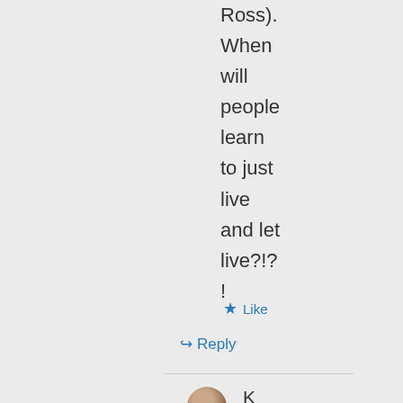Ross). When will people learn to just live and let live?!?!
★ Like
↳ Reply
[Figure (photo): Small circular avatar photo of a person]
K r